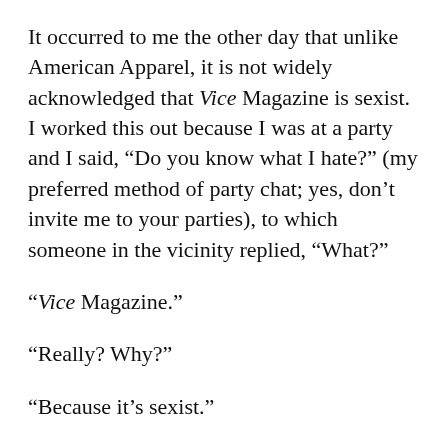It occurred to me the other day that unlike American Apparel, it is not widely acknowledged that Vice Magazine is sexist. I worked this out because I was at a party and I said, “Do you know what I hate?” (my preferred method of party chat; yes, don’t invite me to your parties), to which someone in the vicinity replied, “What?”
“Vice Magazine.”
“Really? Why?”
“Because it’s sexist.”
“Really? Why?”